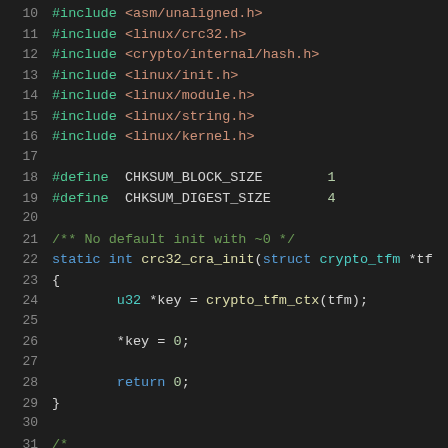10   #include <asm/unaligned.h>
11   #include <linux/crc32.h>
12   #include <crypto/internal/hash.h>
13   #include <linux/init.h>
14   #include <linux/module.h>
15   #include <linux/string.h>
16   #include <linux/kernel.h>
17
18   #define CHKSUM_BLOCK_SIZE        1
19   #define CHKSUM_DIGEST_SIZE       4
20
21   /** No default init with ~0 */
22   static int crc32_cra_init(struct crypto_tfm *tf
23   {
24           u32 *key = crypto_tfm_ctx(tfm);
25
26           *key = 0;
27
28           return 0;
29   }
30
31   /*